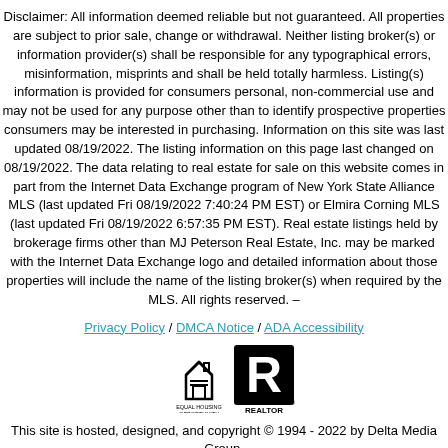Disclaimer: All information deemed reliable but not guaranteed. All properties are subject to prior sale, change or withdrawal. Neither listing broker(s) or information provider(s) shall be responsible for any typographical errors, misinformation, misprints and shall be held totally harmless. Listing(s) information is provided for consumers personal, non-commercial use and may not be used for any purpose other than to identify prospective properties consumers may be interested in purchasing. Information on this site was last updated 08/19/2022. The listing information on this page last changed on 08/19/2022. The data relating to real estate for sale on this website comes in part from the Internet Data Exchange program of New York State Alliance MLS (last updated Fri 08/19/2022 7:40:24 PM EST) or Elmira Corning MLS (last updated Fri 08/19/2022 6:57:35 PM EST). Real estate listings held by brokerage firms other than MJ Peterson Real Estate, Inc. may be marked with the Internet Data Exchange logo and detailed information about those properties will include the name of the listing broker(s) when required by the MLS. All rights reserved. –
Privacy Policy / DMCA Notice / ADA Accessibility
[Figure (logo): Equal Housing Opportunity logo and REALTOR logo side by side]
This site is hosted, designed, and copyright © 1994 - 2022 by Delta Media Group, Inc. – Patent Pending –
Agents Only Login